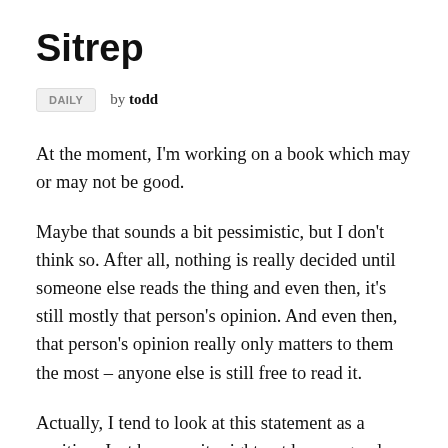Sitrep
DAILY   by todd
At the moment, I'm working on a book which may or may not be good.
Maybe that sounds a bit pessimistic, but I don't think so. After all, nothing is really decided until someone else reads the thing and even then, it's still mostly that person's opinion. And even then, that person's opinion really only matters to them the most – anyone else is still free to read it.
Actually, I tend to look at this statement as a positive. Just because it might not be any good, that also means